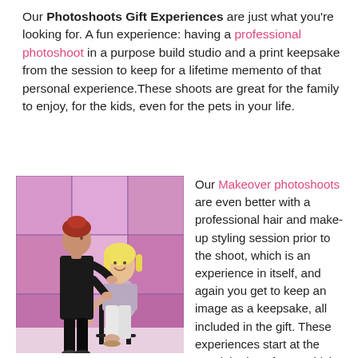Our Photoshoots Gift Experiences are just what you're looking for. A fun experience: having a professional photoshoot in a purpose build studio and a print keepsake from the session to keep for a lifetime memento of that personal experience.These shoots are great for the family to enjoy, for the kids, even for the pets in your life.
[Figure (photo): A makeup artist/hair stylist in black clothing standing and working on a seated blonde woman in a photography studio with pink-lit panels in the background.]
Our Makeover photoshoots are even better with a professional hair and make-up styling session prior to the shoot, which is an experience in itself, and again you get to keep an image as a keepsake, all included in the gift. These experiences start at the special price of £49, which